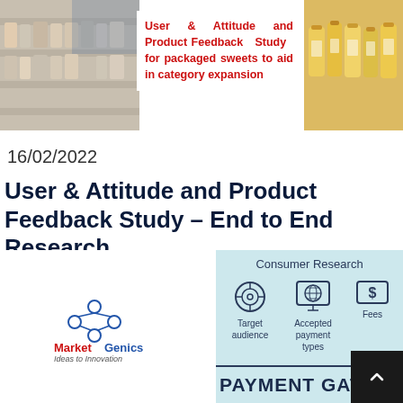[Figure (photo): Header banner with supermarket shelf photos on left and right, white title box in center]
User & Attitude and Product Feedback Study for packaged sweets to aid in category expansion
16/02/2022
User & Attitude and Product Feedback Study – End to End Research
[Figure (infographic): Bottom panel with MarketGenics logo on left (white background) and Consumer Research infographic on right (light blue) showing icons for Target audience, Accepted payment types, and Fees. Payment Gateway text bar at bottom.]